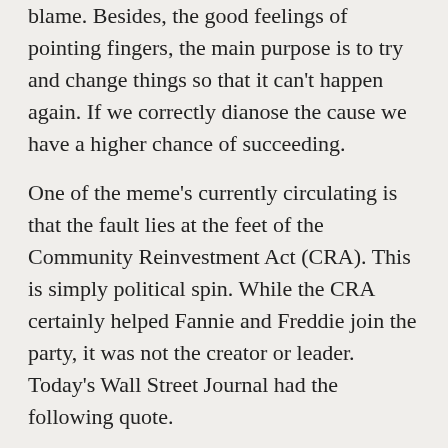blame.  Besides, the good feelings of pointing fingers, the main purpose is to try and change things so that it can't happen again.  If we correctly dianose the cause we have a higher chance of succeeding.
One of the meme's currently circulating is that the fault lies at the feet of the Community Reinvestment Act (CRA).  This is simply political spin.  While the CRA certainly helped Fannie and Freddie join the party, it was not the creator or leader.  Today's Wall Street Journal had the following quote.
“they weren’t the leaders in lowering credit standards,” said Andrew Davidson, a mortgage industry consultant in New York who has done work for Fannie and Freddie and also criticized them for taking excessive risks.  He noted that the worst-performing mortgages are those that